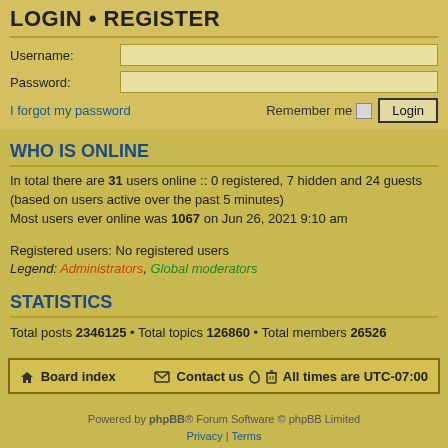LOGIN • REGISTER
Username:
Password:
I forgot my password    Remember me  Login
WHO IS ONLINE
In total there are 31 users online :: 0 registered, 7 hidden and 24 guests (based on users active over the past 5 minutes)
Most users ever online was 1067 on Jun 26, 2021 9:10 am
Registered users: No registered users
Legend: Administrators, Global moderators
STATISTICS
Total posts 2346125 • Total topics 126860 • Total members 26526
Board index   Contact us   All times are UTC-07:00
Powered by phpBB® Forum Software © phpBB Limited
Privacy | Terms